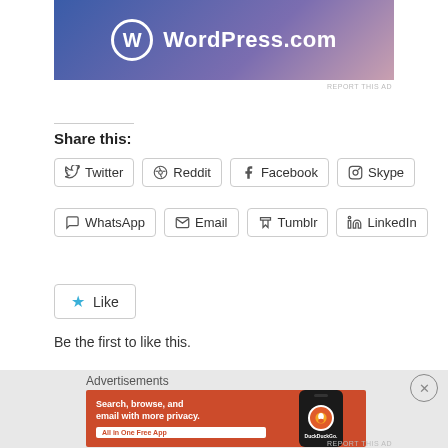[Figure (screenshot): WordPress.com advertisement banner with gradient blue-purple-pink background and WordPress logo]
Share this:
Twitter
Reddit
Facebook
Skype
WhatsApp
Email
Tumblr
LinkedIn
Like
Be the first to like this.
Advertisements
[Figure (screenshot): DuckDuckGo advertisement: Search, browse, and email with more privacy. All in One Free App. Shows phone with DuckDuckGo logo on orange/red background.]